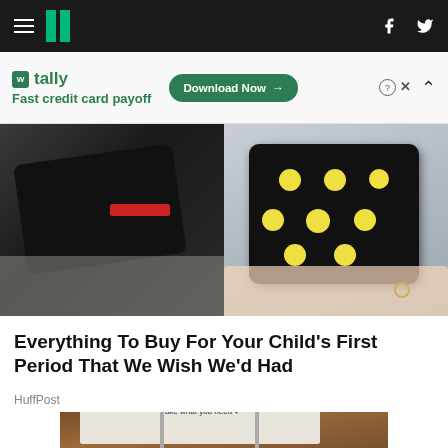HuffPost navigation header with hamburger menu, logo, Facebook and Twitter icons
[Figure (screenshot): Tally app advertisement banner: 'Fast credit card payoff' with Download Now button]
[Figure (photo): Two photos side by side: left shows black period underwear being held, right shows a person holding a black cosmetic pouch with lemon/avocado pattern]
Everything To Buy For Your Child's First Period That We Wish We'd Had
HuffPost
[Figure (photo): A sign on a stake in mulch reading FREE / Take what you need with a heart symbol]